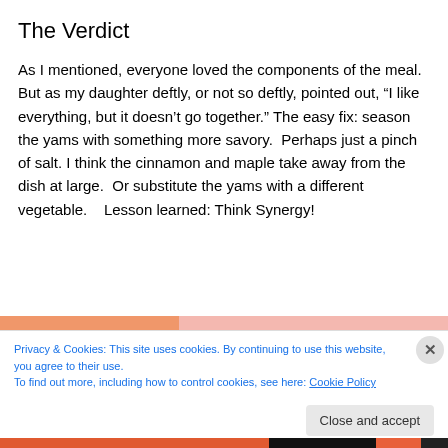The Verdict
As I mentioned, everyone loved the components of the meal.  But as my daughter deftly, or not so deftly, pointed out, “I like everything, but it doesn’t go together.” The easy fix: season the yams with something more savory.  Perhaps just a pinch of salt. I think the cinnamon and maple take away from the dish at large.  Or substitute the yams with a different vegetable.    Lesson learned: Think Synergy!
Privacy & Cookies: This site uses cookies. By continuing to use this website, you agree to their use.
To find out more, including how to control cookies, see here: Cookie Policy